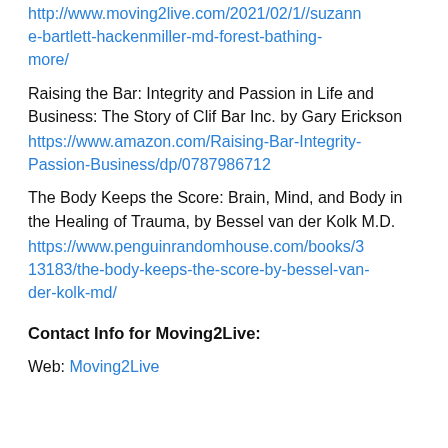http://www.moving2live.com/2021/02/17//suzanne-bartlett-hackenmiller-md-forest-bathing-more/
Raising the Bar: Integrity and Passion in Life and Business: The Story of Clif Bar Inc. by Gary Erickson
https://www.amazon.com/Raising-Bar-Integrity-Passion-Business/dp/0787986712
The Body Keeps the Score: Brain, Mind, and Body in the Healing of Trauma, by Bessel van der Kolk M.D.
https://www.penguinrandomhouse.com/books/313183/the-body-keeps-the-score-by-bessel-van-der-kolk-md/
Contact Info for Moving2Live:
Web: Moving2Live